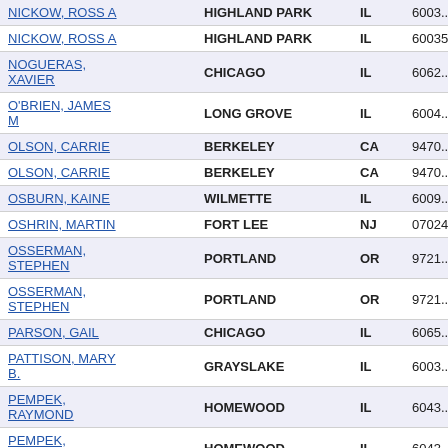| Name | City | State | Zip |
| --- | --- | --- | --- |
| NICKOW, ROSS A | HIGHLAND PARK | IL | 6003... |
| NICKOW, ROSS A | HIGHLAND PARK | IL | 60035 |
| NOGUERAS, XAVIER | CHICAGO | IL | 6062... |
| O'BRIEN, JAMES M | LONG GROVE | IL | 6004... |
| OLSON, CARRIE | BERKELEY | CA | 9470... |
| OLSON, CARRIE | BERKELEY | CA | 9470... |
| OSBURN, KAINE | WILMETTE | IL | 6009... |
| OSHRIN, MARTIN | FORT LEE | NJ | 07024 |
| OSSERMAN, STEPHEN | PORTLAND | OR | 9721... |
| OSSERMAN, STEPHEN | PORTLAND | OR | 9721... |
| PARSON, GAIL | CHICAGO | IL | 6065... |
| PATTISON, MARY B. | GRAYSLAKE | IL | 6003... |
| PEMPEK, RAYMOND | HOMEWOOD | IL | 6043... |
| PEMPEK, RAYMOND | HOMEWOOD | IL | 6043... |
| PEMPEK, RAYMOND | HOMEWOOD | IL | 6043... |
| PEMPEK, |  |  |  |